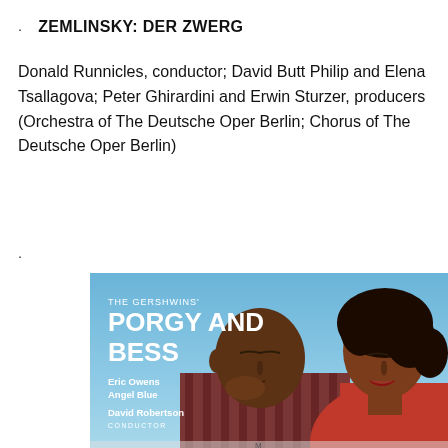ZEMLINSKY: DER ZWERG
Donald Runnicles, conductor; David Butt Philip and Elena Tsallagova; Peter Ghirardini and Erwin Sturzer, producers (Orchestra of The Deutsche Oper Berlin; Chorus of The Deutsche Oper Berlin)
·
[Figure (photo): Album cover for 'The Gershwins' Porgy and Bess' featuring Eric Owens and Angel Blue with David Robertson as conductor. Blue sky background with two performers in close embrace.]